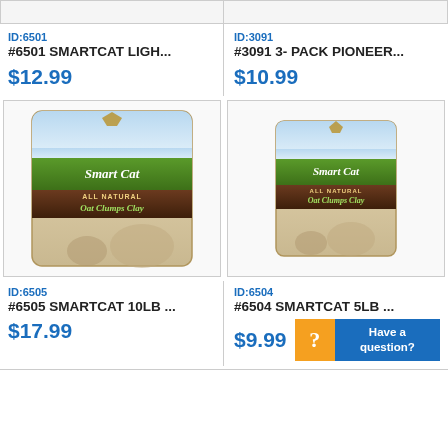ID:6501
#6501 SMARTCAT LIGH...
$12.99
ID:3091
#3091 3- PACK PIONEER...
$10.99
[Figure (photo): SmartCat All Natural Oat Clumps Clay cat litter bag, large size]
[Figure (photo): SmartCat All Natural Oat Clumps Clay cat litter bag, medium size]
ID:6505
#6505 SMARTCAT 10LB ...
$17.99
ID:6504
#6504 SMARTCAT 5LB ...
$9.99
Have a question?